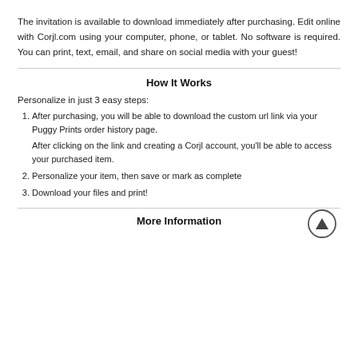The invitation is available to download immediately after purchasing. Edit online with Corjl.com using your computer, phone, or tablet. No software is required. You can print, text, email, and share on social media with your guest!
How It Works
Personalize in just 3 easy steps:
After purchasing, you will be able to download the custom url link via your Puggy Prints order history page. After clicking on the link and creating a Corjl account, you'll be able to access your purchased item.
Personalize your item, then save or mark as complete
Download your files and print!
More Information